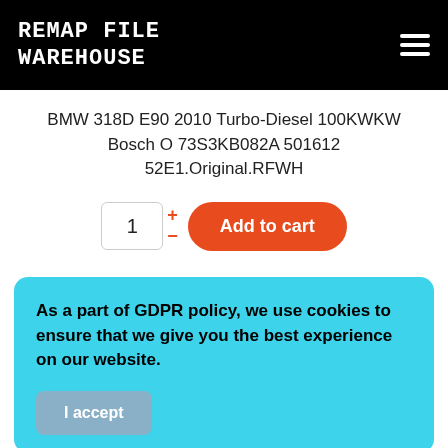Remap File Warehouse
BMW 318D E90 2010 Turbo-Diesel 100KWKW Bosch O 73S3KB082A 501612 52E1.Original.RFWH
Add to cart (quantity 1)
As a part of GDPR policy, we use cookies to ensure that we give you the best experience on our website.
I accept